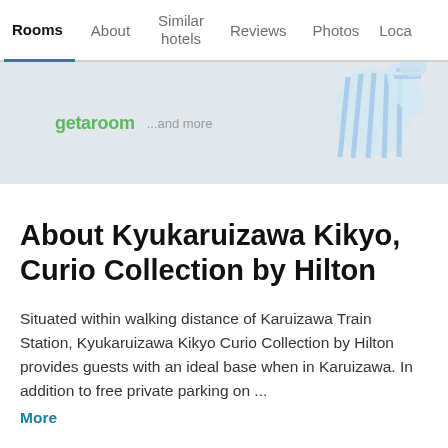Rooms | About | Similar hotels | Reviews | Photos | Loca…
[Figure (illustration): Banner advertisement showing getaroom logo with '...and more' text and an illustration of a character in blue striped pajamas on a light grey background]
About Kyukaruizawa Kikyo, Curio Collection by Hilton
Situated within walking distance of Karuizawa Train Station, Kyukaruizawa Kikyo Curio Collection by Hilton provides guests with an ideal base when in Karuizawa. In addition to free private parking on ...
More
Good to Know